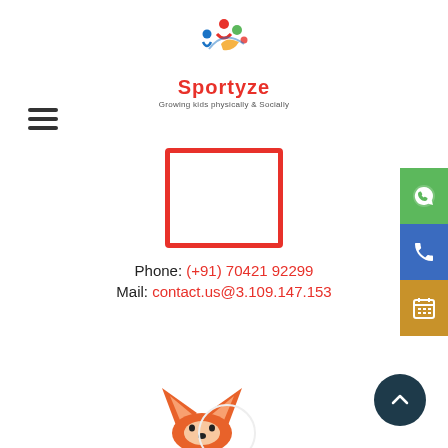[Figure (logo): Sportyze logo with colorful circular icon, brand name 'Sportyze' in red, and tagline 'Growing kids physically & Socially']
[Figure (other): Hamburger/menu icon with three horizontal lines]
[Figure (other): Red-bordered rectangle image placeholder]
Phone: (+91) 70421 92299
Mail: contact.us@3.109.147.153
[Figure (other): WhatsApp icon on green background, phone icon on blue background, calendar icon on golden/amber background — side contact buttons on right edge]
[Figure (illustration): Partial fox cartoon illustration at bottom center]
[Figure (other): Dark teal circular back-to-top arrow button at bottom right]